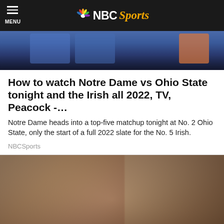NBC Sports
[Figure (photo): Sports players in blue uniforms, partial view, top cropped image]
How to watch Notre Dame vs Ohio State tonight and the Irish all 2022, TV, Peacock -…
Notre Dame heads into a top-five matchup tonight at No. 2 Ohio State, only the start of a full 2022 slate for the No. 5 Irish.
NBCSports
[Figure (photo): Close-up photo of a person tilting their head back, receiving liquid drops into their mouth from a dropper held by a hand]